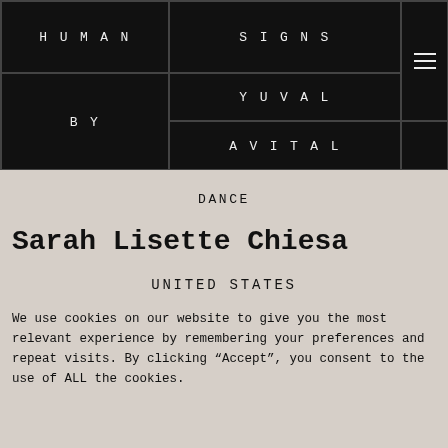[Figure (illustration): Website header with black background grid layout showing 'HUMAN SIGNS' as title, 'BY YUVAL AVITAL' as subtitle in separate grid cells with a hamburger menu icon]
DANCE
Sarah Lisette Chiesa
UNITED STATES
We use cookies on our website to give you the most relevant experience by remembering your preferences and repeat visits. By clicking “Accept”, you consent to the use of ALL the cookies.